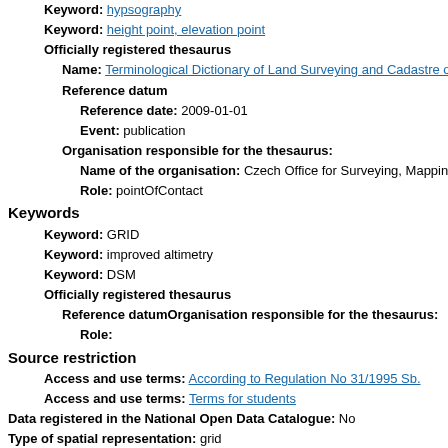Keyword: hypsography
Keyword: height point, elevation point
Officially registered thesaurus
Name: Terminological Dictionary of Land Surveying and Cadastre of R…
Reference datum
Reference date: 2009-01-01
Event: publication
Organisation responsible for the thesaurus:
Name of the organisation: Czech Office for Surveying, Mapping…
Role: pointOfContact
Keywords
Keyword: GRID
Keyword: improved altimetry
Keyword: DSM
Officially registered thesaurus
Reference datumOrganisation responsible for the thesaurus:
Role:
Source restriction
Access and use terms: According to Regulation No 31/1995 Sb.
Access and use terms: Terms for students
Data registered in the National Open Data Catalogue: No
Type of spatial representation: grid
Spatial resolution
Distance: 5
Source language: cze
Character set:?